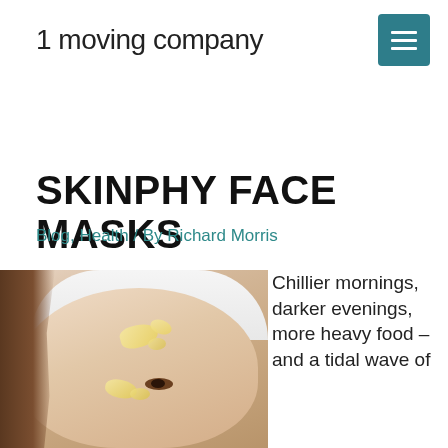1 moving company
SKINPHY FACE MASKS
Blog, Health / By Richard Morris
[Figure (photo): Close-up photo of a woman wearing a white headband with a gold/yellow face mask applied to her skin, looking upward.]
Chillier mornings, darker evenings, more heavy food – and a tidal wave of